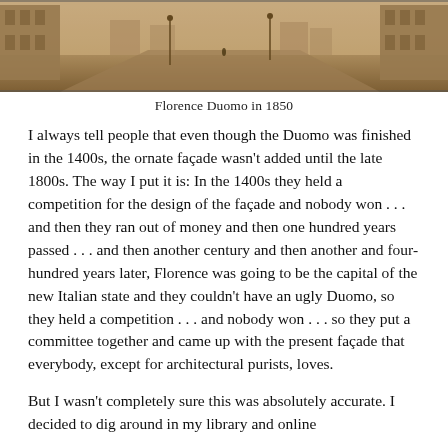[Figure (photo): Sepia-toned historical photograph of Florence Duomo area in 1850, taken from an elevated vantage point showing streets and buildings.]
Florence Duomo in 1850
I always tell people that even though the Duomo was finished in the 1400s, the ornate façade wasn't added until the late 1800s. The way I put it is: In the 1400s they held a competition for the design of the façade and nobody won . . . and then they ran out of money and then one hundred years passed . . . and then another century and then another and four-hundred years later, Florence was going to be the capital of the new Italian state and they couldn't have an ugly Duomo, so they held a competition . . . and nobody won . . . so they put a committee together and came up with the present façade that everybody, except for architectural purists, loves.
But I wasn't completely sure this was absolutely accurate. I decided to dig around in my library and online